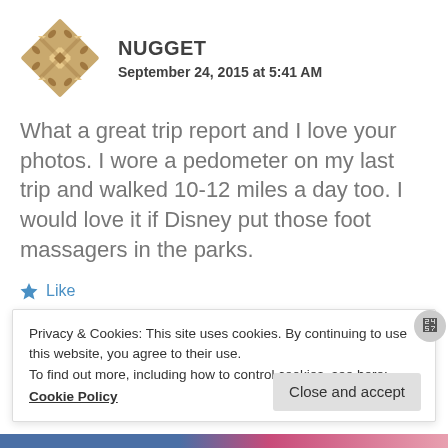[Figure (illustration): Decorative geometric diamond/quilt pattern avatar in tan/brown color]
NUGGET
September 24, 2015 at 5:41 AM
What a great trip report and I love your photos. I wore a pedometer on my last trip and walked 10-12 miles a day too. I would love it if Disney put those foot massagers in the parks.
Like
Privacy & Cookies: This site uses cookies. By continuing to use this website, you agree to their use.
To find out more, including how to control cookies, see here:
Cookie Policy
Close and accept